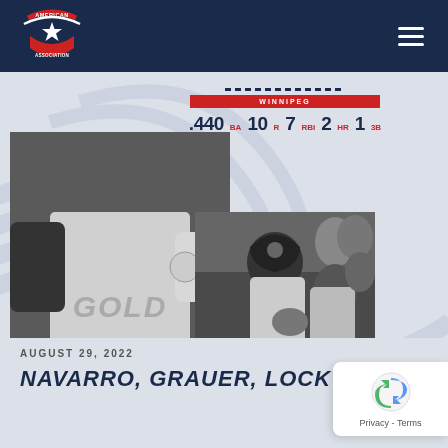[Figure (logo): American Association of Professional Baseball logo - shield shape with star, red white and blue]
[Figure (photo): Baseball player in gold uniform, black and white photo collage with stats overlay showing Winnipeg batter of the week stats]
WINNIPEG
.440 BA  10 R  7 RBI  2 HR  1 3B
BATTER OF THE WEEK
AUGUST 29, 2022
NAVARRO, GRAUER, LOCK UP